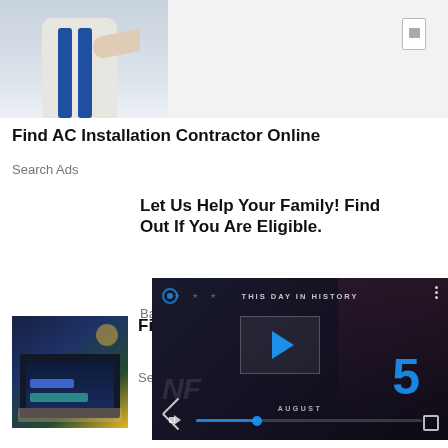[Figure (photo): Person in white t-shirt and blue overalls reaching toward a wall outlet, home repair/installation scene]
Find AC Installation Contractor Online
Search Ads
Let Us Help Your Family! Find Out If You Are Eligible.
Baby
[Figure (photo): Cybersecurity themed image showing person typing on laptop with blue security-related screen overlays]
Find... Int...
Sear...
[Figure (screenshot): Video player overlay showing 'THIS DAY IN HISTORY' with NFL branding, number 5, word AUGUST, play button, mute button, progress bar, and expand button]